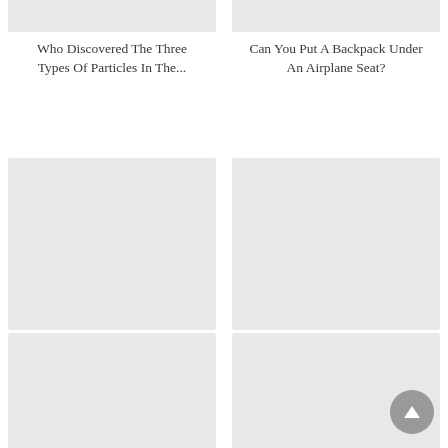[Figure (photo): Partial image placeholder top-left, light gray rectangle]
Who Discovered The Three Types Of Particles In The...
[Figure (photo): Partial image placeholder top-right, light gray rectangle]
Can You Put A Backpack Under An Airplane Seat?
[Figure (photo): Image placeholder middle-left, light gray rectangle]
How Can I Improve My Work Process?
[Figure (photo): Image placeholder middle-right, light gray rectangle]
How Do You Know If You're A Late Bloomer Male?
[Figure (photo): Image placeholder bottom-left, light gray rectangle]
Why Is It Called The Extrinsic
[Figure (photo): Image placeholder bottom-right, light gray rectangle]
Which Halogens Could